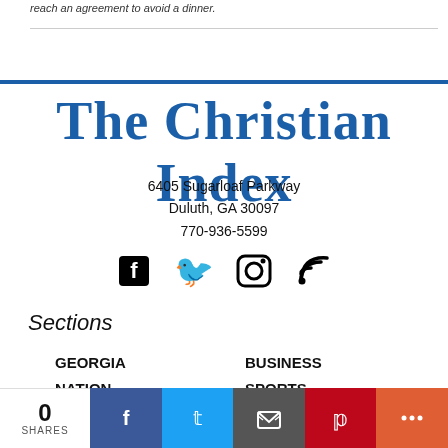reach an agreement to avoid a dinner.
[Figure (logo): The Christian Index logo in blue serif font]
6405 Sugarloaf Parkway
Duluth, GA 30097
770-936-5599
[Figure (infographic): Social media icons: Facebook, Twitter, Instagram, RSS]
Sections
GEORGIA
NATION
WORLD
BUSINESS
SPORTS
PERSPECTIVES
0 SHARES  [Facebook] [Twitter] [Email] [Pinterest] [More]